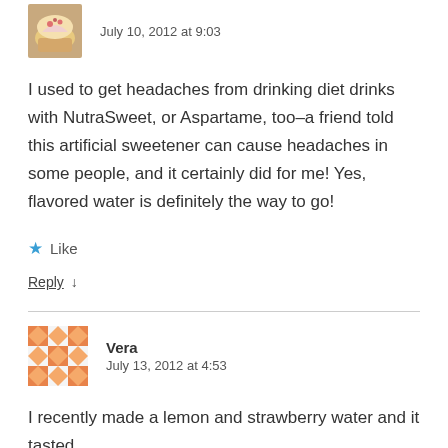July 10, 2012 at 9:03
I used to get headaches from drinking diet drinks with NutraSweet, or Aspartame, too–a friend told this artificial sweetener can cause headaches in some people, and it certainly did for me! Yes, flavored water is definitely the way to go!
★ Like
Reply ↓
Vera
July 13, 2012 at 4:53
I recently made a lemon and strawberry water and it tasted